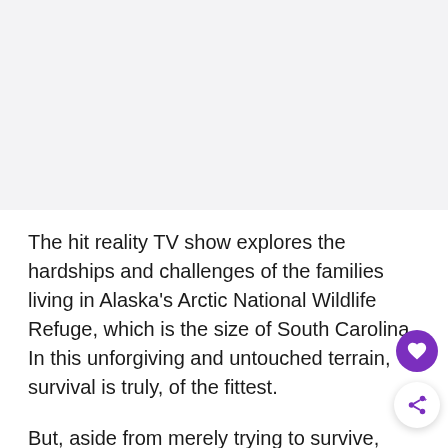[Figure (photo): Blank/placeholder image area at top of page, light gray background]
The hit reality TV show explores the hardships and challenges of the families living in Alaska's Arctic National Wildlife Refuge, which is the size of South Carolina. In this unforgiving and untouched terrain, survival is truly, of the fittest.
But, aside from merely trying to survive,